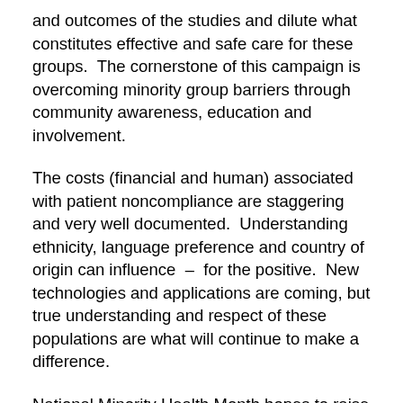and outcomes of the studies and dilute what constitutes effective and safe care for these groups.  The cornerstone of this campaign is overcoming minority group barriers through community awareness, education and involvement.
The costs (financial and human) associated with patient noncompliance are staggering and very well documented.  Understanding ethnicity, language preference and country of origin can influence  –  for the positive.  New technologies and applications are coming, but true understanding and respect of these populations are what will continue to make a difference.
National Minority Health Month hopes to raise awareness of disparity and the need to include all groups in health care education, policies, and programs.  Inclusion of marginalized groups in the decision making process